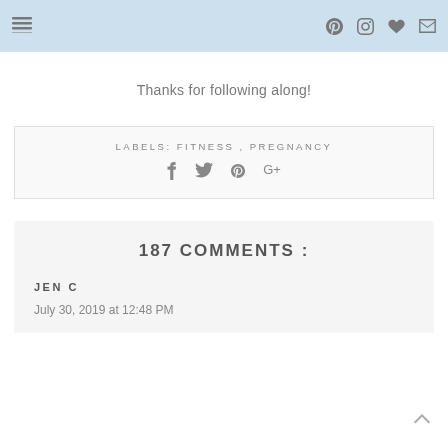Thanks for following along!
LABELS: FITNESS , PREGNANCY
187 COMMENTS :
JEN C
July 30, 2019 at 12:48 PM